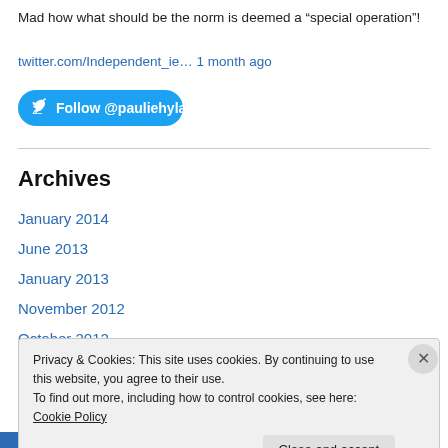Mad how what should be the norm is deemed a “special operation”!
twitter.com/Independent_ie… 1 month ago
[Figure (other): Follow @pauliehyland button with Twitter bird icon on blue rounded button]
Archives
January 2014
June 2013
January 2013
November 2012
October 2012
Privacy & Cookies: This site uses cookies. By continuing to use this website, you agree to their use. To find out more, including how to control cookies, see here: Cookie Policy
Close and accept